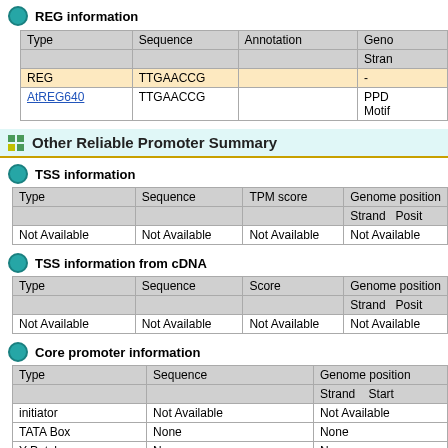REG information
| Type | Sequence | Annotation | Geno... / Stran... |
| --- | --- | --- | --- |
| REG | TTGAACCG |  | - |
| AtREG640 | TTGAACCG |  | PPD... Moti... |
Other Reliable Promoter Summary
TSS information
| Type | Sequence | TPM score | Genome position / Strand / Posit |
| --- | --- | --- | --- |
| Not Available | Not Available | Not Available | Not Available |
TSS information from cDNA
| Type | Sequence | Score | Genome position / Strand / Posit |
| --- | --- | --- | --- |
| Not Available | Not Available | Not Available | Not Available |
Core promoter information
| Type | Sequence | Genome position / Strand / Start |
| --- | --- | --- |
| initiator | Not Available | Not Available |
| TATA Box | None | None |
| Y Patch | None | None |